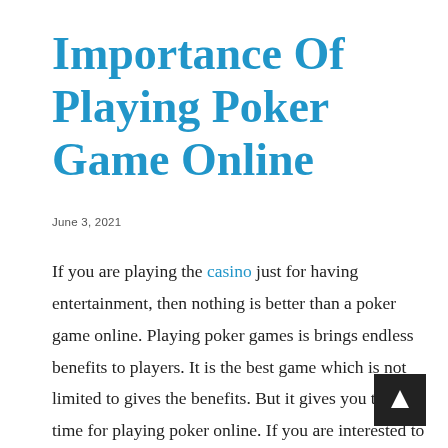Importance Of Playing Poker Game Online
June 3, 2021
If you are playing the casino just for having entertainment, then nothing is better than a poker game online. Playing poker games is brings endless benefits to players. It is the best game which is not limited to gives the benefits. But it gives you the best time for playing poker online. If you are interested to play an online poker game, then choose a poker game online to get added benefits. With the increase of technology, you have to play